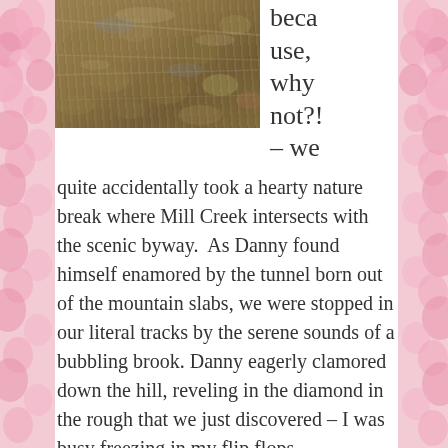[Figure (photo): A close-up photo of Mill Creek water flowing over rocky/pebbly creek bed with brownish stones and shallow water reflections.]
because, why not?! – we quite accidentally took a hearty nature break where Mill Creek intersects with the scenic byway.  As Danny found himself enamored by the tunnel born out of the mountain slabs, we were stopped in our literal tracks by the serene sounds of a bubbling brook. Danny eagerly clamored down the hill, reveling in the diamond in the rough that we just discovered – I was busy freezing in my flip flops, overthinking my way down to the water's edge.